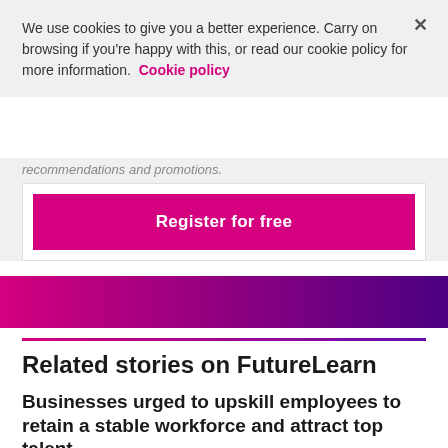We use cookies to give you a better experience. Carry on browsing if you're happy with this, or read our cookie policy for more information. Cookie policy
recommendations and promotions.
Register for free
Related stories on FutureLearn
Businesses urged to upskill employees to retain a stable workforce and attract top talent
UK employers should do more to make learning and development part